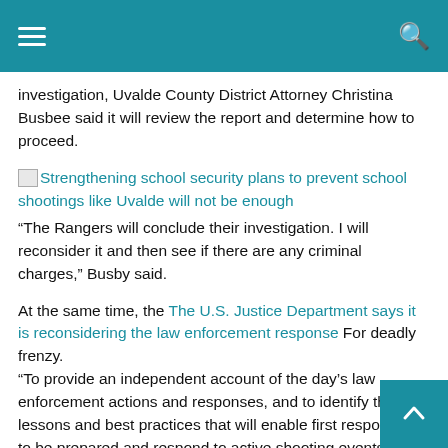investigation, Uvalde County District Attorney Christina Busbee said it will review the report and determine how to proceed.
[Figure (illustration): Broken image icon followed by linked article headline: Strengthening school security plans to prevent school shootings like Uvalde will not be enough]
“The Rangers will conclude their investigation. I will reconsider it and then see if there are any criminal charges,” Busby said.
At the same time, the The U.S. Justice Department says it is reconsidering the law enforcement response For deadly frenzy.
“To provide an independent account of the day’s law enforcement actions and responses, and to identify the lessons and best practices that will enable first responders to be prepared and respond to active shooting events,” a Justice Department spokesman said.
Although the investigation is not over, Thor Eels,